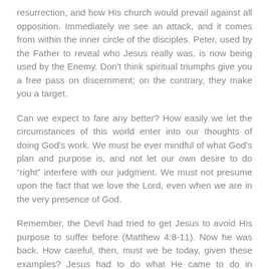resurrection, and how His church would prevail against all opposition. Immediately we see an attack, and it comes from within the inner circle of the disciples. Peter, used by the Father to reveal who Jesus really was, is now being used by the Enemy. Don't think spiritual triumphs give you a free pass on discernment; on the contrary, they make you a target.
Can we expect to fare any better? How easily we let the circumstances of this world enter into our thoughts of doing God's work. We must be ever mindful of what God's plan and purpose is, and not let our own desire to do “right” interfere with our judgment. We must not presume upon the fact that we love the Lord, even when we are in the very presence of God.
Remember, the Devil had tried to get Jesus to avoid His purpose to suffer before (Matthew 4:8-11). Now he was back. How careful, then, must we be today, given these examples? Jesus had to do what He came to do in history, and also in our lives, but how often we want to hinder His work by our own thoughts of how things ought to proceed.